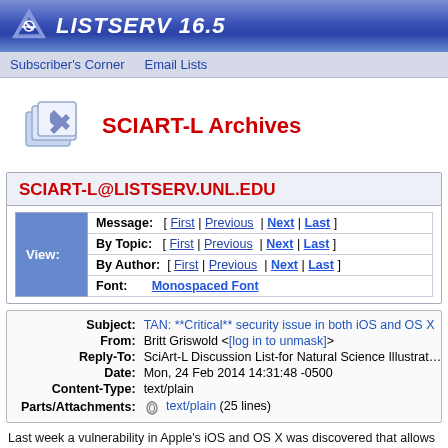LISTSERV 16.5
Subscriber's Corner   Email Lists
SCIART-L Archives
SCIART-L@LISTSERV.UNL.EDU
| View: | Navigation |
| --- | --- |
| Message: | [ First | Previous | Next | Last ] |
| By Topic: | [ First | Previous | Next | Last ] |
| By Author: | [ First | Previous | Next | Last ] |
| Font: | Monospaced Font |
| Field | Value |
| --- | --- |
| Subject: | TAN: **Critical** security issue in both iOS and OS X |
| From: | Britt Griswold <[log in to unmask]> |
| Reply-To: | SciArt-L Discussion List-for Natural Science Illustration- < |
| Date: | Mon, 24 Feb 2014 14:31:48 -0500 |
| Content-Type: | text/plain |
| Parts/Attachments: | text/plain (25 lines) |
Last week a vulnerability in Apple's iOS and OS X was discovered that allows a even alter your encrypted traffic. This includes all sorts of connections: web ser